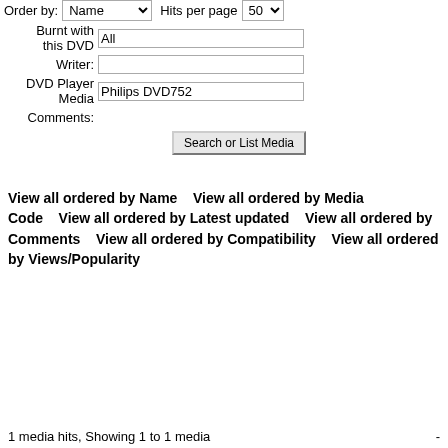Order by: Name  Hits per page 50
Burnt with this DVD: All
Writer:
DVD Player Media: Philips DVD752
Comments:
Search or List Media
View all ordered by Name    View all ordered by Media Code    View all ordered by Latest updated    View all ordered by Comments    View all ordered by Compatibility    View all ordered by Views/Popularity
1 media hits, Showing 1 to 1 media    -